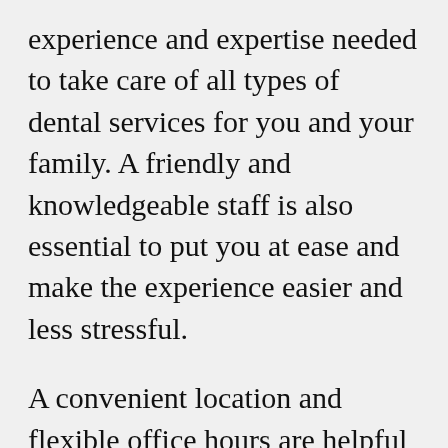experience and expertise needed to take care of all types of dental services for you and your family. A friendly and knowledgeable staff is also essential to put you at ease and make the experience easier and less stressful.
A convenient location and flexible office hours are helpful to ensure that you can schedule appointments around your needs.